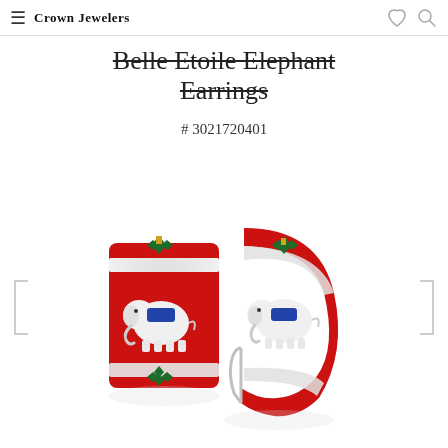Crown Jewelers
Belle Etoile Elephant Earrings
# 3021720401
[Figure (photo): Two red enamel hoop earrings featuring white elephant motifs with blue saddles, green leaf/floral decorations, yellow accents, and diamond-set silver bands. The earrings are shown on a white background with a subtle reflection below.]